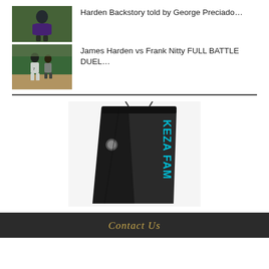[Figure (photo): Thumbnail of a basketball player in purple jersey]
Harden Backstory told by George Preciado…
[Figure (photo): Thumbnail of James Harden in white jersey number 7 on basketball court with crowd]
James Harden vs Frank Nitty FULL BATTLE DUEL…
[Figure (photo): Black sweatpants/joggers with cyan text branding on the leg, product photo on white background]
Contact Us